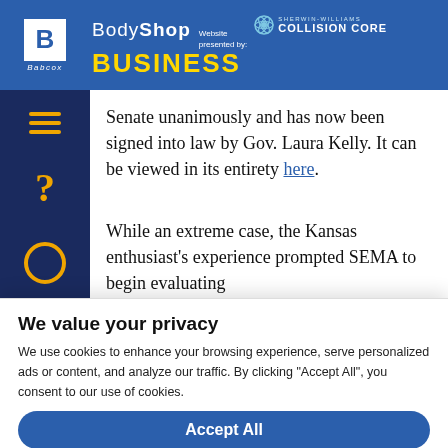BodyShop Business — Website presented by: Sherwin-Williams Collision Core
Senate unanimously and has now been signed into law by Gov. Laura Kelly. It can be viewed in its entirety here.
While an extreme case, the Kansas enthusiast's experience prompted SEMA to begin evaluating the...
We value your privacy
We use cookies to enhance your browsing experience, serve personalized ads or content, and analyze our traffic. By clicking "Accept All", you consent to our use of cookies.
Accept All
Customize
Reject All